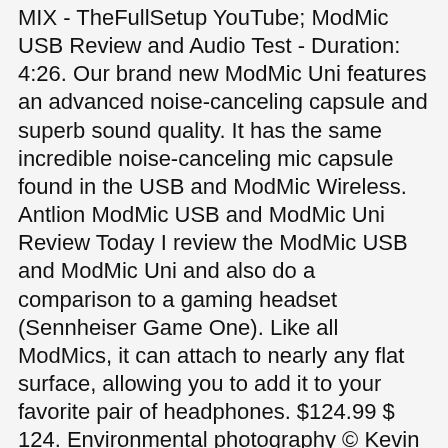MIX - TheFullSetup YouTube; ModMic USB Review and Audio Test - Duration: 4:26. Our brand new ModMic Uni features an advanced noise-canceling capsule and superb sound quality. It has the same incredible noise-canceling mic capsule found in the USB and ModMic Wireless. Antlion ModMic USB and ModMic Uni Review Today I review the ModMic USB and ModMic Uni and also do a comparison to a gaming headset (Sennheiser Game One). Like all ModMics, it can attach to nearly any flat surface, allowing you to add it to your favorite pair of headphones. $124.99 $ 124. Environmental photography © Kevin Laubacher. This video has all the information you will need to manipulate the boom. Click for info. Environmental photography © Kevin Laubacher, on our store or from your local retailer in our. So we took what we learned from our USB Sound Card to create a new and incredible analog to digital conversion (ADC), featuring a premium ADC chipset. Or maybe you need to mount the ModMic on the opposite (right) side of your headphones. We didn't skimp on the ModMic Uni's microphone. Be the first to review your report about.